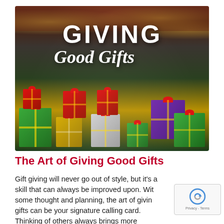[Figure (photo): Holiday gift-giving promotional image showing colorful glittery gift box ornaments with red bows, bokeh lights in background, with overlay text 'GIVING Good Gifts']
The Art of Giving Good Gifts
Gift giving will never go out of style, but it’s a skill that can always be improved upon. With some thought and planning, the art of giving gifts can be your signature calling card. Thinking of others always brings more